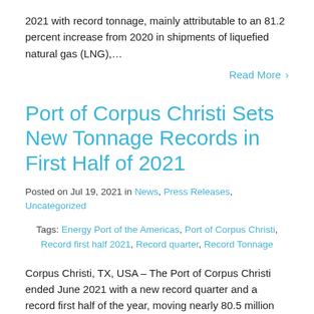2021 with record tonnage, mainly attributable to an 81.2 percent increase from 2020 in shipments of liquefied natural gas (LNG),…
Read More ›
Port of Corpus Christi Sets New Tonnage Records in First Half of 2021
Posted on Jul 19, 2021 in News, Press Releases, Uncategorized
Tags: Energy Port of the Americas, Port of Corpus Christi, Record first half 2021, Record quarter, Record Tonnage
Corpus Christi, TX, USA – The Port of Corpus Christi ended June 2021 with a new record quarter and a record first half of the year, moving nearly 80.5 million tons…